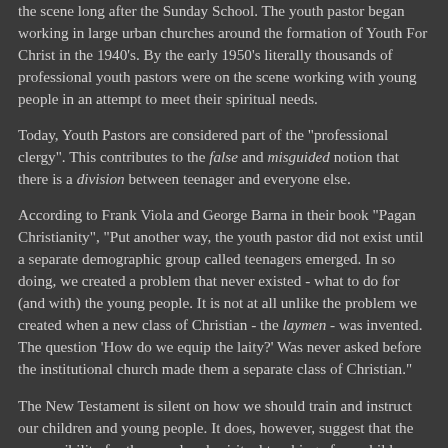the scene long after the Sunday School. The youth pastor began working in large urban churches around the formation of Youth For Christ in the 1940's. By the early 1950's literally thousands of professional youth pastors were on the scene working with young people in an attempt to meet their spiritual needs.
Today, Youth Pastors are considered part of the "professional clergy". This contributes to the false and misguided notion that there is a division between teenager and everyone else.
According to Frank Viola and George Barna in their book "Pagan Christianity", "Put another way, the youth pastor did not exist until a separate demographic group called teenagers emerged. In so doing, we created a problem that never existed - what to do for (and with) the young people. It is not at all unlike the problem we created when a new class of Christian - the laymen - was invented. The question 'How do we equip the laity?' Was never asked before the institutional church made them a separate class of Christian."
The New Testament is silent on how we should train and instruct our children and young people. It does, however, suggest that the responsibility for the moral and spiritual teaching of our children should be left to the parents. (Ephesians 6:1-3 The children...